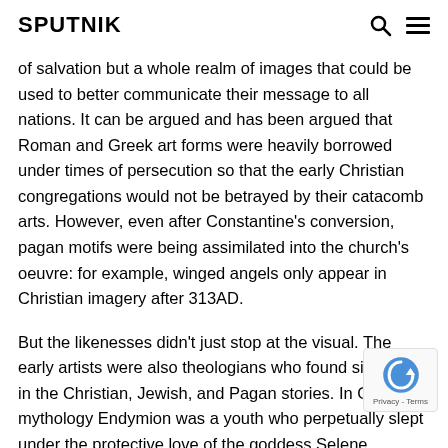SPUTNIK
of salvation but a whole realm of images that could be used to better communicate their message to all nations. It can be argued and has been argued that Roman and Greek art forms were heavily borrowed under times of persecution so that the early Christian congregations would not be betrayed by their catacomb arts. However, even after Constantine's conversion, pagan motifs were being assimilated into the church's oeuvre: for example, winged angels only appear in Christian imagery after 313AD.
But the likenesses didn't just stop at the visual. The early artists were also theologians who found similarities in the Christian, Jewish, and Pagan stories. In Greek mythology Endymion was a youth who perpetually slept under the protective love of the goddess Selene. Depictions of Endymion soon became